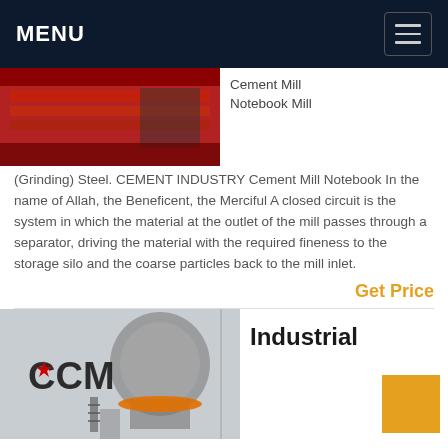MENU
[Figure (photo): Industrial red machinery equipment photo]
Cement Mill Notebook Mill (Grinding) Steel. CEMENT INDUSTRY Cement Mill Notebook In the name of Allah, the Beneficent, the Merciful A closed circuit is the system in which the material at the outlet of the mill passes through a separator, driving the material with the required fineness to the storage silo and the coarse particles back to the mill inlet.
Get Price
[Figure (photo): CCM industrial cement mill machinery photo with logo]
Industrial